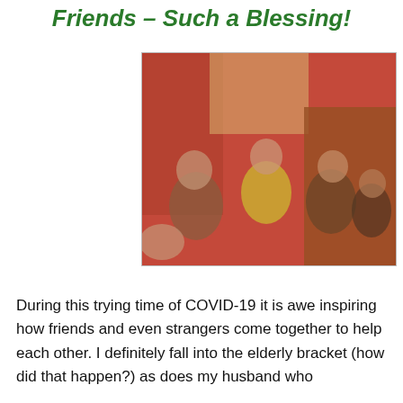Friends – Such a Blessing!
[Figure (photo): A blurred group photo of multiple people gathered together in a room with red walls and warm lighting. People appear to be socializing.]
During this trying time of COVID-19 it is awe inspiring how friends and even strangers come together to help each other. I definitely fall into the elderly bracket (how did that happen?) as does my husband who